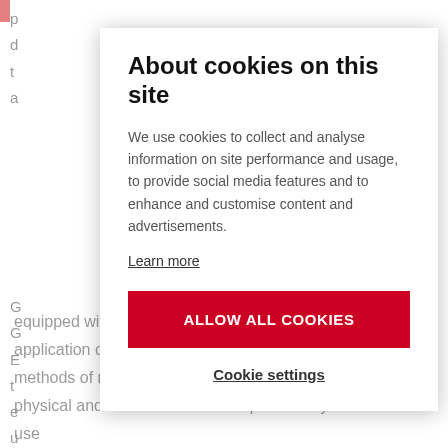p
d
t
a
G
G
E
t
e
u
t
About cookies on this site
We use cookies to collect and analyse information on site performance and usage, to provide social media features and to enhance and customise content and advertisements.
Learn more
ALLOW ALL COOKIES
Cookie settings
equipped with a complex knowledge of the theory and application of electromagnetic field, electrical circuits, methods of measuring and signal processing and their physical and mathematical description. They are able to use